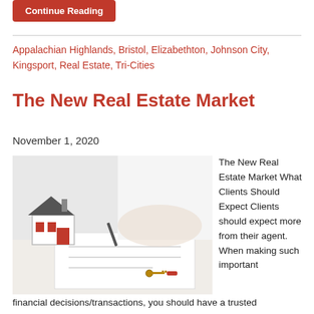Continue Reading
Appalachian Highlands, Bristol, Elizabethton, Johnson City, Kingsport, Real Estate, Tri-Cities
The New Real Estate Market
November 1, 2020
[Figure (photo): A model house next to a person signing documents with keys on the table]
The New Real Estate Market What Clients Should Expect Clients should expect more from their agent. When making such important financial decisions/transactions, you should have a trusted